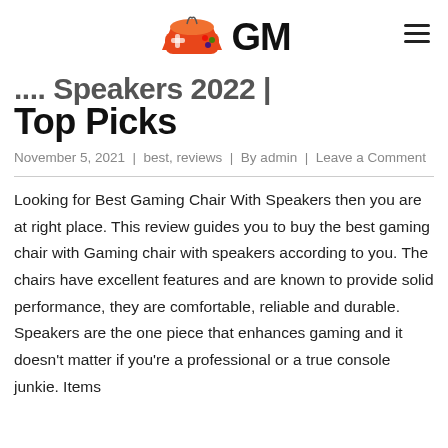GM (logo with gaming controller icon)
Top Picks
November 5, 2021 | best, reviews | By admin | Leave a Comment
Looking for Best Gaming Chair With Speakers then you are at right place. This review guides you to buy the best gaming chair with Gaming chair with speakers according to you. The chairs have excellent features and are known to provide solid performance, they are comfortable, reliable and durable. Speakers are the one piece that enhances gaming and it doesn't matter if you're a professional or a true console junkie. Items